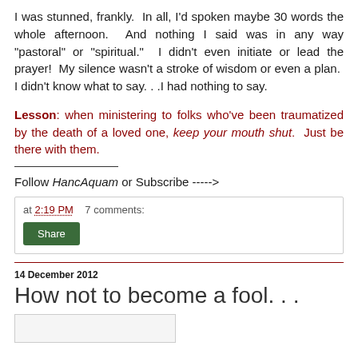I was stunned, frankly. In all, I'd spoken maybe 30 words the whole afternoon. And nothing I said was in any way "pastoral" or "spiritual." I didn't even initiate or lead the prayer! My silence wasn't a stroke of wisdom or even a plan. I didn't know what to say. . .I had nothing to say.
Lesson: when ministering to folks who've been traumatized by the death of a loved one, keep your mouth shut. Just be there with them.
Follow HancAquam or Subscribe ------>
at 2:19 PM   7 comments:
Share
14 December 2012
How not to become a fool. . .